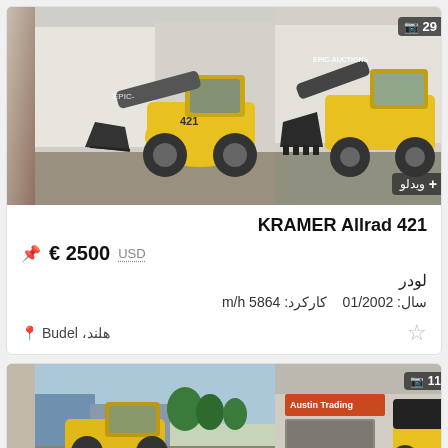[Figure (photo): KRAMER Allrad 421 wheel loader, yellow, side view with bucket raised, EPIC-AUCTIONS watermark, two photos side by side. Right photo has camera icon with '29' and Arabic video badge.]
KRAMER Allrad 421
USD  2500 €
لودر
سال: 01/2002   کارکرد: 5864 m/h
هلند، Budel
[Figure (photo): Second listing: two partial photos of construction equipment/loader at bottom of page.]